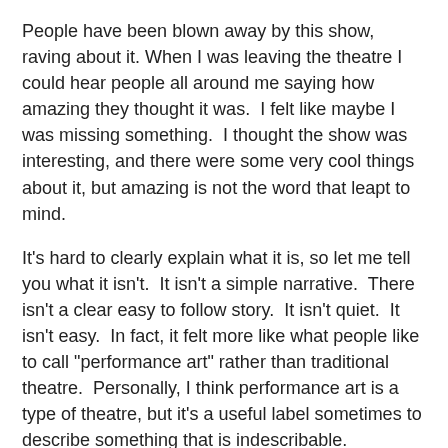People have been blown away by this show, raving about it. When I was leaving the theatre I could hear people all around me saying how amazing they thought it was.  I felt like maybe I was missing something.  I thought the show was interesting, and there were some very cool things about it, but amazing is not the word that leapt to mind.
It's hard to clearly explain what it is, so let me tell you what it isn't.  It isn't a simple narrative.  There isn't a clear easy to follow story.  It isn't quiet.  It isn't easy.  In fact, it felt more like what people like to call "performance art" rather than traditional theatre.  Personally, I think performance art is a type of theatre, but it's a useful label sometimes to describe something that is indescribable.
In this case, what we see on stage is carefully crafted chaos.
13 actors explore adolescence on the stage. They do it by